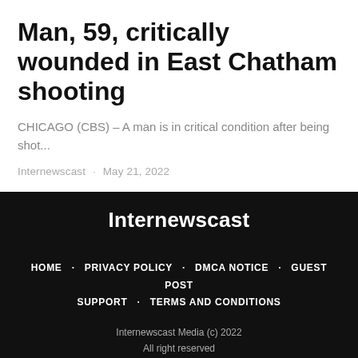Man, 59, critically wounded in East Chatham shooting
CHICAGO (CBS) – A man is in critical condition after being shot...
Internewscast · May 21, 2022
Internewscast
HOME · PRIVACY POLICY · DMCA NOTICE · GUEST POST · SUPPORT · TERMS AND CONDITIONS
Internewscast Media (c) 2022
All right reserved